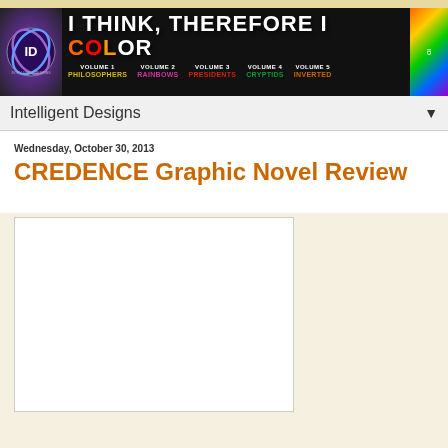[Figure (illustration): Intelligent Designs blog banner with logo, text 'I THINK, THEREFORE I COLOR', and five volume titles: Philosophers, (Rainbows), Presidents, Cryptids, (Inverted)]
Intelligent Designs
Wednesday, October 30, 2013
CREDENCE Graphic Novel Review
[Figure (illustration): White rectangle image placeholder for graphic novel review content]